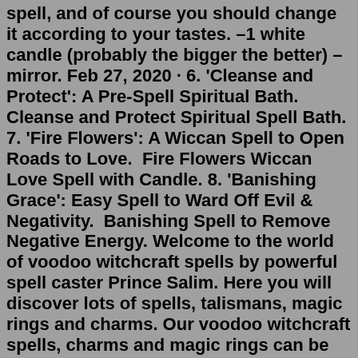spell, and of course you should change it according to your tastes. –1 white candle (probably the bigger the better) –mirror. Feb 27, 2020 · 6. 'Cleanse and Protect': A Pre-Spell Spiritual Bath.  Cleanse and Protect Spiritual Spell Bath. 7. 'Fire Flowers': A Wiccan Spell to Open Roads to Love.  Fire Flowers Wiccan Love Spell with Candle. 8. 'Banishing Grace': Easy Spell to Ward Off Evil & Negativity.  Banishing Spell to Remove Negative Energy. Welcome to the world of voodoo witchcraft spells by powerful spell caster Prince Salim. Here you will discover lots of spells, talismans, magic rings and charms. Our voodoo witchcraft spells, charms and magic rings can be used for love problems, business boosting, money attraction, lottery lucky numbers, fertility problems, black magic ... julia wehlan Learning about The Craft? Get Witchcraft spells, symbols, potions & magic (magick) from REAL Witches. Find Witchcraft traditions, recipes, supplies & more! Mar 03, 2021 · Cast this spell to bring abundance and prosperity into your life. You will need a gold candle, a green felt, gel,